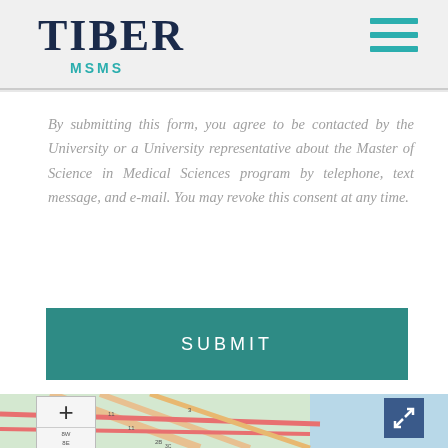TIBER MSMS
By submitting this form, you agree to be contacted by the University or a University representative about the Master of Science in Medical Sciences program by telephone, text message, and e-mail. You may revoke this consent at any time.
[Figure (screenshot): Teal SUBMIT button]
[Figure (map): Street map showing urban area with roads and waterways, with zoom controls on the left and an expand button on the right]